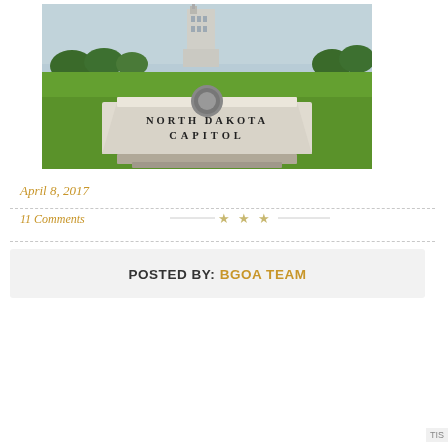[Figure (photo): Photo of the North Dakota Capitol building with a stone monument reading 'NORTH DAKOTA CAPITOL' in the foreground, set on a green lawn with the tall capitol building visible in the background.]
April 8, 2017
11 Comments
POSTED BY: BGOA TEAM